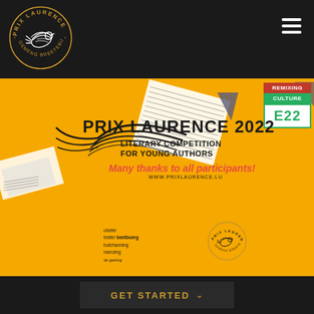[Figure (logo): Prix Laurence Gemeng Breetebuerg circular logo with bird illustration in gold and white on black nav bar]
[Figure (illustration): Orange hero section with flying bird illustration, paper/book pages collage, and Prix Laurence 2022 branding elements]
PRIX LAURENCE 2022
LITERARY COMPETITION FOR YOUNG AUTHORS
Many thanks to all participants!
WWW.PRIXLAURENCE.LU
[Figure (logo): Small circular Prix Laurence Gemeng Breetebuerg logo]
obeler
treiter beetbuerg
butchanning
nserzing
de gaming
[Figure (logo): Remixing Culture E22 badge in red, green and white]
GET STARTED